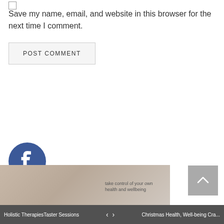Save my name, email, and website in this browser for the next time I comment.
POST COMMENT
[Figure (logo): Facebook logo — circular blue icon with white 'f' letterform]
[Figure (photo): Partial photo of a person, light background, bottom of page]
[Figure (infographic): Back to top arrow button, grey square with upward chevron]
Holistic Therapies Taster Sessions   <   >   Christmas Health, Well-being Cra...